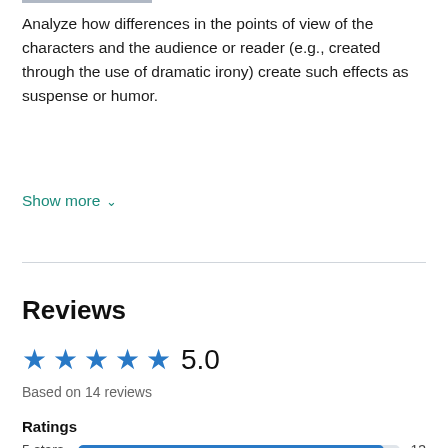Analyze how differences in the points of view of the characters and the audience or reader (e.g., created through the use of dramatic irony) create such effects as suspense or humor.
Show more
Reviews
[Figure (other): Five blue star rating icons with rating number 5.0]
Based on 14 reviews
Ratings
5 stars   13